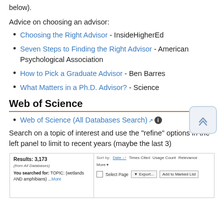below).
Advice on choosing an advisor:
Choosing the Right Advisor - InsideHigherEd
Seven Steps to Finding the Right Advisor - American Psychological Association
How to Pick a Graduate Advisor - Ben Barres
What Matters in a Ph.D. Advisor? - Science
Web of Science
Web of Science (All Databases Search)
Search on a topic of interest and use the "refine" options in the left panel to limit to recent years (maybe the last 3)
[Figure (screenshot): Screenshot of Web of Science search results showing Results: 3,173 (from All Databases), search for TOPIC: (wetlands AND amphibians) ...More, with sort options by Date, Times Cited, Usage Count, Relevance, More, and action buttons for Select Page, Export, and Add to Marked List]